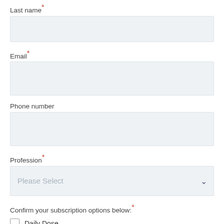Last name *
[input field - Last name]
Email *
[input field - Email]
Phone number
[input field - Phone number]
Profession *
Please Select [dropdown]
Confirm your subscription options below: *
Daily Dose
M Daily (Mortgage Lending & Housing News)